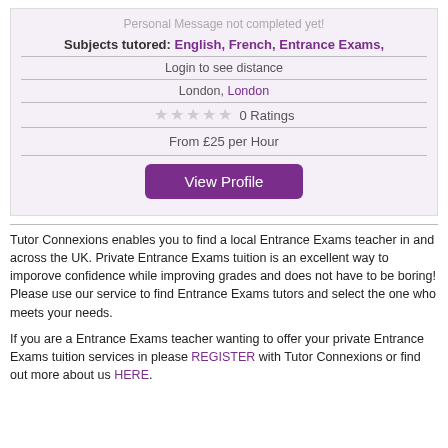Personal Message not completed yet!
Subjects tutored: English, French, Entrance Exams,
Login to see distance
London, London
0 Ratings
From £25 per Hour
View Profile
Tutor Connexions enables you to find a local Entrance Exams teacher in and across the UK. Private Entrance Exams tuition is an excellent way to imporove confidence while improving grades and does not have to be boring! Please use our service to find Entrance Exams tutors and select the one who meets your needs.
If you are a Entrance Exams teacher wanting to offer your private Entrance Exams tuition services in please REGISTER with Tutor Connexions or find out more about us HERE.